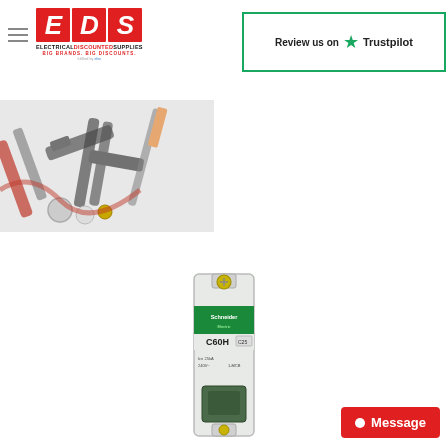[Figure (logo): EDS Electrical Discounted Supplies logo with red block letters E, D, S and tagline BIG BRANDS. BIG DISCOUNTS.]
[Figure (screenshot): Review us on Trustpilot banner with green star and border]
[Figure (photo): Electrical tools including pliers, wire strippers and connectors on a white background]
[Figure (photo): Schneider Electric C60H circuit breaker, single pole, white and green, mounted vertically]
Message